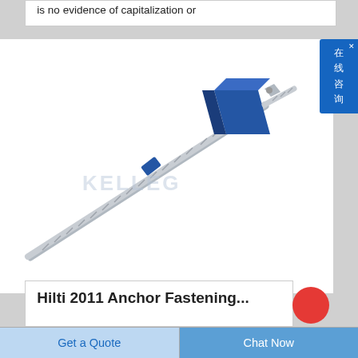is no evidence of capitalization or
[Figure (photo): Engineering anchor fastening product: a long threaded/corrugated rod with a blue square plate/washer and small nut at one end, shown at an angle. Watermark 'KELLEG' visible on image.]
Hilti 2011 Anchor Fastening...
Get a Quote
Chat Now